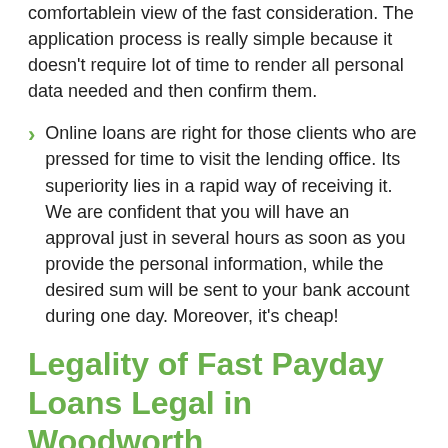comfortablein view of the fast consideration. The application process is really simple because it doesn't require lot of time to render all personal data needed and then confirm them.
Online loans are right for those clients who are pressed for time to visit the lending office. Its superiority lies in a rapid way of receiving it. We are confident that you will have an approval just in several hours as soon as you provide the personal information, while the desired sum will be sent to your bank account during one day. Moreover, it's cheap!
Legality of Fast Payday Loans Legal in Woodworth
This matter lists down the rules of fast payday loans